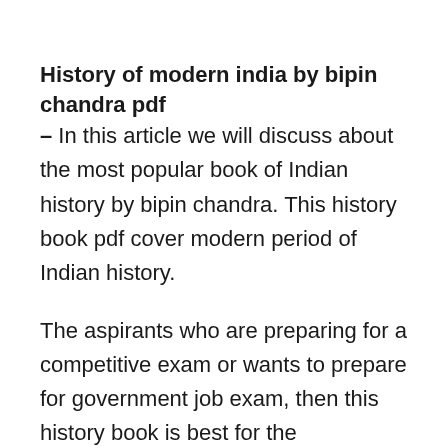History of modern india by bipin chandra pdf
– In this article we will discuss about the most popular book of Indian history by bipin chandra. This history book pdf cover modern period of Indian history.
The aspirants who are preparing for a competitive exam or wants to prepare for government job exam, then this history book is best for the preparation of history section. This Indian modern history book cover history section in a very comprehensive and systematic manner